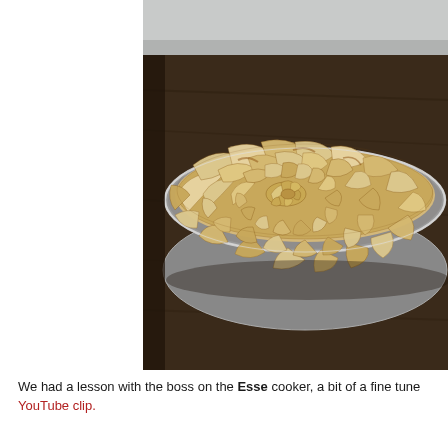[Figure (photo): A beautifully arranged apple tart in a round fluted tart tin, with thinly sliced apples arranged in a spiral rose pattern, golden and lightly browned. The tart sits on a rustic wooden surface with a blurred background.]
We had a lesson with the boss on the Esse cooker, a bit of a fine tune YouTube clip.